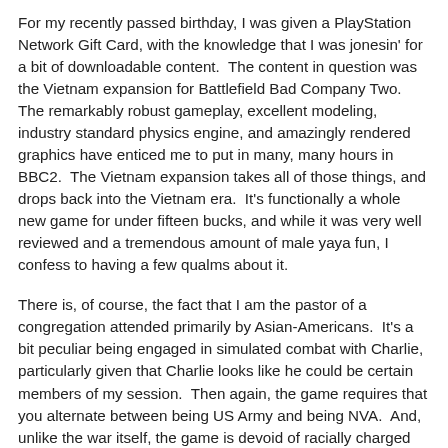For my recently passed birthday, I was given a PlayStation Network Gift Card, with the knowledge that I was jonesin' for a bit of downloadable content.  The content in question was the Vietnam expansion for Battlefield Bad Company Two.  The remarkably robust gameplay, excellent modeling, industry standard physics engine, and amazingly rendered graphics have enticed me to put in many, many hours in BBC2.  The Vietnam expansion takes all of those things, and drops back into the Vietnam era.  It's functionally a whole new game for under fifteen bucks, and while it was very well reviewed and a tremendous amount of male yaya fun, I confess to having a few qualms about it.
There is, of course, the fact that I am the pastor of a congregation attended primarily by Asian-Americans.  It's a bit peculiar being engaged in simulated combat with Charlie, particularly given that Charlie looks like he could be certain members of my session.  Then again, the game requires that you alternate between being US Army and being NVA.  And, unlike the war itself, the game is devoid of racially charged language.  While the US forces do utter some pretty pungent and non-G-rated epithets in combat, the racist slurs that